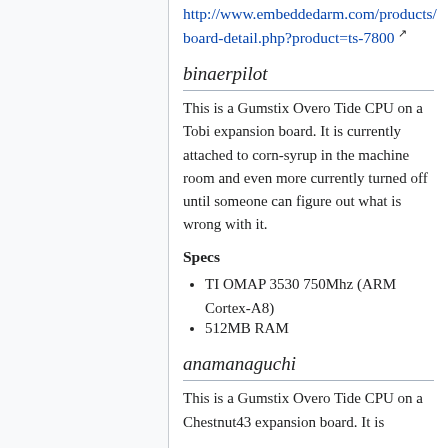http://www.embeddedarm.com/products/board-detail.php?product=ts-7800
binaerpilot
This is a Gumstix Overo Tide CPU on a Tobi expansion board. It is currently attached to corn-syrup in the machine room and even more currently turned off until someone can figure out what is wrong with it.
Specs
TI OMAP 3530 750Mhz (ARM Cortex-A8)
512MB RAM
anamanaguchi
This is a Gumstix Overo Tide CPU on a Chestnut43 expansion board. It is